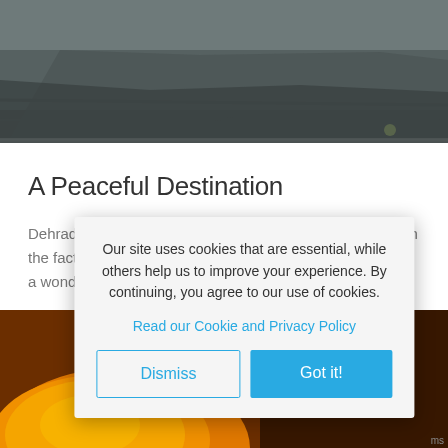[Figure (photo): Aerial or ground-level photo of a dirt/stone pathway or road surface in muted grey-brown tones]
A Peaceful Destination
Dehradun’s temples and natural attractions, combined with the fact that many tourists simply pass through, make this a wonderfully tranquil destination.
[Figure (photo): Close-up photo of a mound of bright orange/yellow turmeric or spice powder at a market]
Our site uses cookies that are essential, while others help us to improve your experience. By continuing, you agree to our use of cookies.
Read our Cookie and Privacy Policy